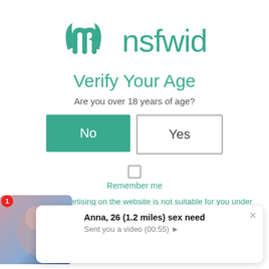[Figure (logo): nsfwid logo with teal bat-wing 'n' icon and teal 'nsfwid' text]
Verify Your Age
Are you over 18 years of age?
No | Yes (buttons)
Remember me
Content or advertising on the website is not suitable for you under
[Figure (screenshot): Notification popup: thumbnail of a woman, red dot badge showing 1, bubble with bold text 'Anna, 26 (1.2 miles) sex need' and 'Sent you a video (00:55) ►', close X button]